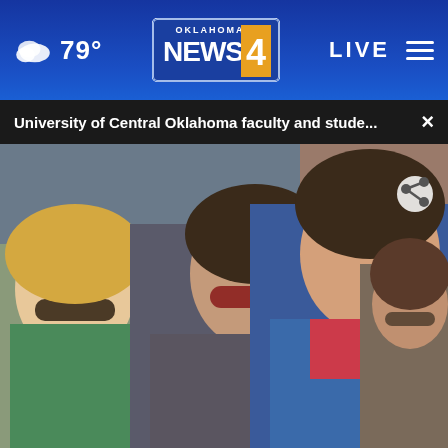79° Oklahoma's News 4 LIVE
University of Central Oklahoma faculty and stude... ×
[Figure (screenshot): News video still showing multiple people outdoors. In the foreground a woman in a blue jacket with a red shirt underneath. Behind her another woman with red-tinted sunglasses and a woman with brown sunglasses and blonde hair. A lower-third graphic reads 'NIKKI SEAGRAVES ASSOCIATE PROFESSOR' with Oklahoma's News 4 logo.]
NIKKI SEAGRAVES  ASSOCIATE PROFESSOR
2 inch in Whittier H...
AP U.S. News • 36 seconds ago
cine
Expect Expertise. Business Runs On It. Expect More From Your Bank. Learn More MainStreetBank